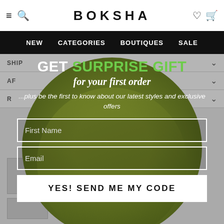BOKSHA — navigation header with menu, search, wishlist, bag icons
NEW  CATEGORIES  BOUTIQUES  SALE
[Figure (screenshot): Background fashion e-commerce page dimmed behind popup, showing filter rows (SHIP, AF, R) with chevrons and product thumbnails, overlaid by circular image of model in olive-green outfit]
GET SURPRISE GIFT
for your first order
...plus be the first to know about our latest styles and exclusive offers
First Name (input field)
Email (input field)
YES! SEND ME MY CODE (button)